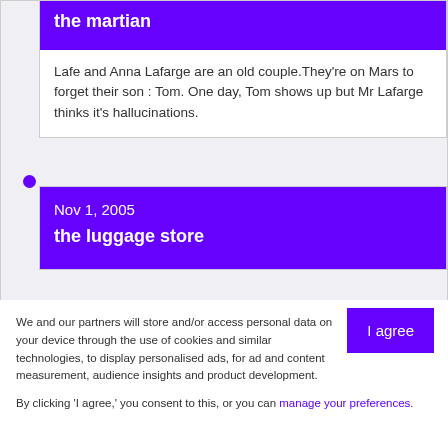the martian
Lafe and Anna Lafarge are an old couple.They're on Mars to forget their son : Tom. One day, Tom shows up but Mr Lafarge thinks it's hallucinations.
Nov 1, 2005
the luggage store
We and our partners will store and/or access personal data on your device through the use of cookies and similar technologies, to display personalised ads, for ad and content measurement, audience insights and product development.
By clicking 'I agree,' you consent to this, or you can manage your preferences.